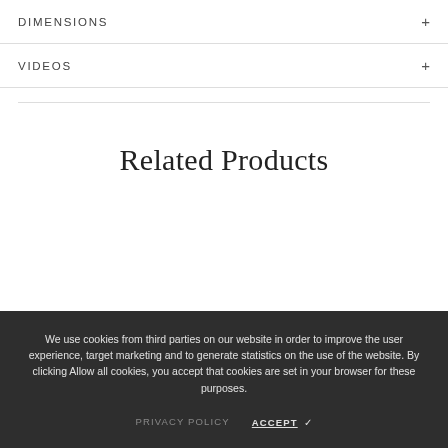DIMENSIONS
VIDEOS
Related Products
We use cookies from third parties on our website in order to improve the user experience, target marketing and to generate statistics on the use of the website. By clicking Allow all cookies, you accept that cookies are set in your browser for these purposes.
PRIVACY POLICY   ACCEPT ✓